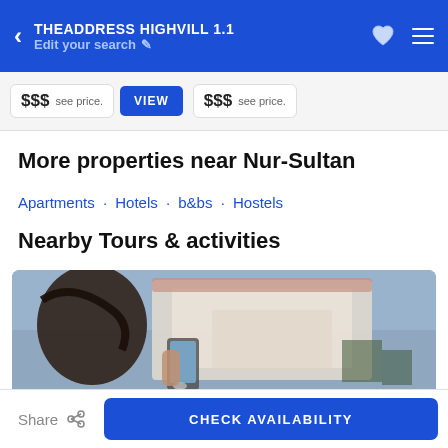THEADDRESS HIGHVILL 1.1 — Edit your search
$$$ see price. VIEW  $$$ see price.
More properties near Nur-Sultan
Apartments · Hotels · b&bs · Hostels
Nearby Tours & activities
[Figure (photo): A person holding up a smartphone taking a photo of a building, blurred background showing white/terracotta architecture and sky.]
Share  CHECK AVAILABILITY